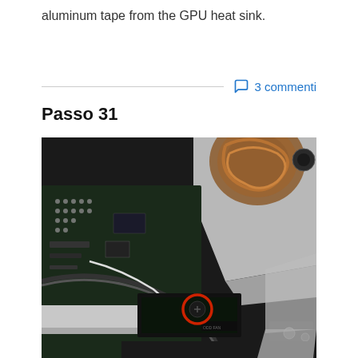aluminum tape from the GPU heat sink.
3 commenti
Passo 31
[Figure (photo): Close-up photo of MacBook internals showing the logic board, heat sink with copper coils, fan connector area, and a red circle highlighting a screw or connector point on the board near the fan connector labeled 'ODD FAN'.]